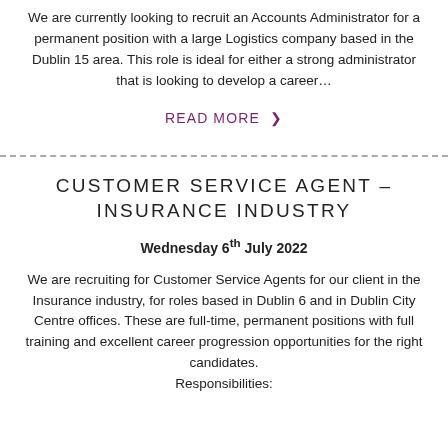We are currently looking to recruit an Accounts Administrator for a permanent position with a large Logistics company based in the Dublin 15 area. This role is ideal for either a strong administrator that is looking to develop a career…
READ MORE ❯
CUSTOMER SERVICE AGENT – INSURANCE INDUSTRY
Wednesday 6th July 2022
We are recruiting for Customer Service Agents for our client in the Insurance industry, for roles based in Dublin 6 and in Dublin City Centre offices. These are full-time, permanent positions with full training and excellent career progression opportunities for the right candidates. Responsibilities: